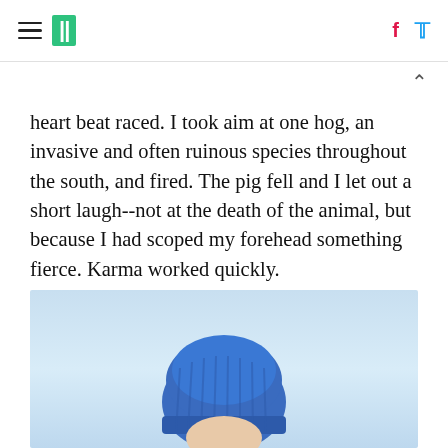≡ || f ✓
heart beat raced. I took aim at one hog, an invasive and often ruinous species throughout the south, and fired. The pig fell and I let out a short laugh--not at the death of the animal, but because I had scoped my forehead something fierce. Karma worked quickly.
[Figure (photo): Person wearing a blue knit beanie hat, photographed from chin up against a light blue sky background.]